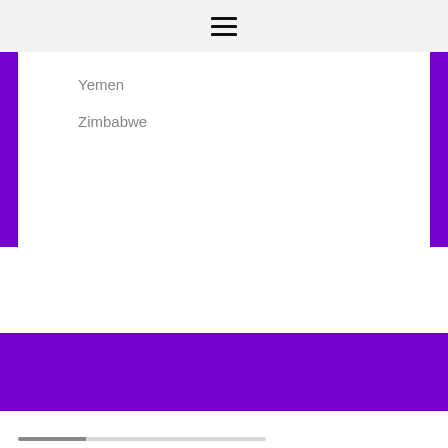≡
Yemen
Zimbabwe
[Figure (other): Progress bar with filled gray segment and empty light gray segment]
Highlights from the current month
A few important details about us
See how easy it is to find us daily